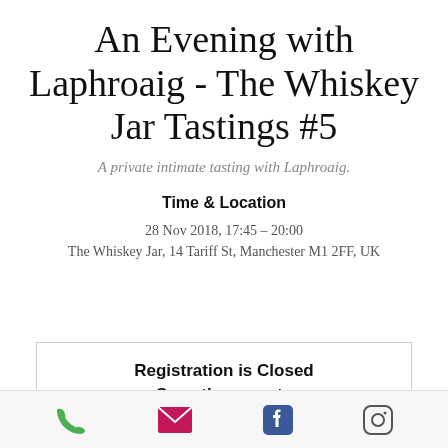An Evening with Laphroaig - The Whiskey Jar Tastings #5
A private intimate tasting with Laphroaig.
Time & Location
28 Nov 2018, 17:45 – 20:00
The Whiskey Jar, 14 Tariff St, Manchester M1 2FF, UK
Registration is Closed
See other events
[Figure (other): Bottom navigation bar with phone, email, Facebook, and Instagram icons]